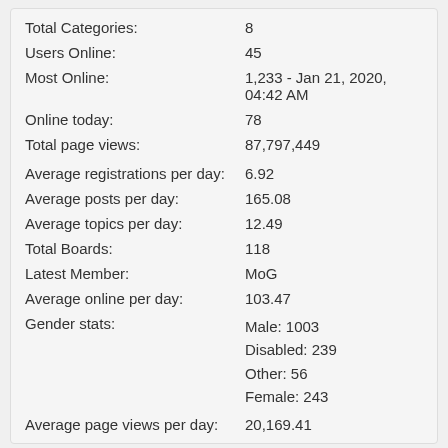| Label | Value |
| --- | --- |
| Total Categories: | 8 |
| Users Online: | 45 |
| Most Online: | 1,233 - Jan 21, 2020, 04:42 AM |
| Online today: | 78 |
| Total page views: | 87,797,449 |
| Average registrations per day: | 6.92 |
| Average posts per day: | 165.08 |
| Average topics per day: | 12.49 |
| Total Boards: | 118 |
| Latest Member: | MoG |
| Average online per day: | 103.47 |
| Gender stats: | Male: 1003
Disabled: 239
Other: 56
Female: 243 |
| Average page views per day: | 20,169.41 |
🏆 Top 10 Posters